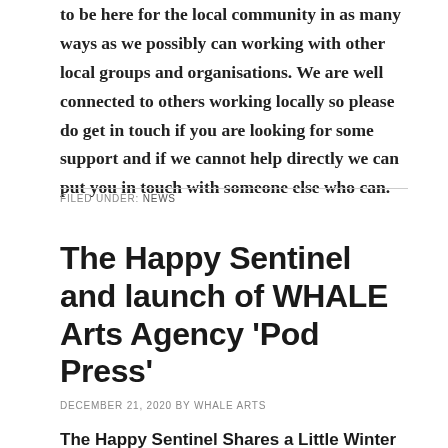to be here for the local community in as many ways as we possibly can working with other local groups and organisations. We are well connected to others working locally so please do get in touch if you are looking for some support and if we cannot help directly we can put you in touch with someone else who can.
FILED UNDER: NEWS
The Happy Sentinel and launch of WHALE Arts Agency 'Pod Press'
DECEMBER 21, 2020 BY WHALE ARTS
The Happy Sentinel Shares a Little Winter